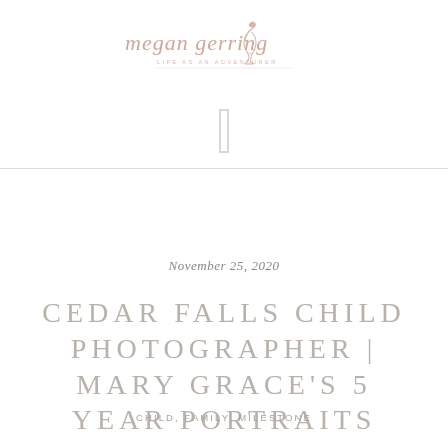[Figure (logo): Script/cursive text logo reading 'megan gerring' with a small flamingo illustration and tagline text below]
[Figure (other): A small square bracket icon or camera icon placeholder]
November 25, 2020
CEDAR FALLS CHILD PHOTOGRAPHER | MARY GRACE'S 5 YEAR PORTRAITS
CHILD, FAMILY, MILESTONE